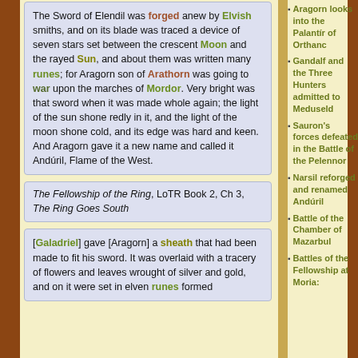The Sword of Elendil was forged anew by Elvish smiths, and on its blade was traced a device of seven stars set between the crescent Moon and the rayed Sun, and about them was written many runes; for Aragorn son of Arathorn was going to war upon the marches of Mordor. Very bright was that sword when it was made whole again; the light of the sun shone redly in it, and the light of the moon shone cold, and its edge was hard and keen. And Aragorn gave it a new name and called it Andúril, Flame of the West.
The Fellowship of the Ring, LoTR Book 2, Ch 3, The Ring Goes South
[Galadriel] gave [Aragorn] a sheath that had been made to fit his sword. It was overlaid with a tracery of flowers and leaves wrought of silver and gold, and on it were set in elven runes formed
Aragorn looks into the Palantír of Orthanc
Gandalf and the Three Hunters admitted to Meduseld
Sauron's forces defeated in the Battle of the Pelennor
Narsil reforged and renamed Andúril
Battle of the Chamber of Mazarbul
Battles of the Fellowship at Moria: